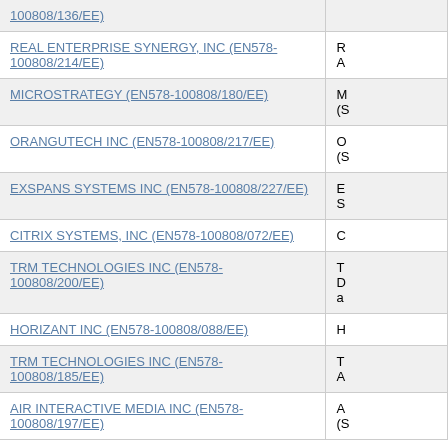| Company | Description |
| --- | --- |
| 100808/136/EE) |  |
| REAL ENTERPRISE SYNERGY, INC (EN578-100808/214/EE) | R A |
| MICROSTRATEGY (EN578-100808/180/EE) | M (S |
| ORANGUTECH INC (EN578-100808/217/EE) | O (S |
| EXSPANS SYSTEMS INC (EN578-100808/227/EE) | E S |
| CITRIX SYSTEMS, INC (EN578-100808/072/EE) | C |
| TRM TECHNOLOGIES INC (EN578-100808/200/EE) | T D a |
| HORIZANT INC (EN578-100808/088/EE) | H |
| TRM TECHNOLOGIES INC (EN578-100808/185/EE) | T A |
| AIR INTERACTIVE MEDIA INC (EN578-100808/197/EE) | A (S |